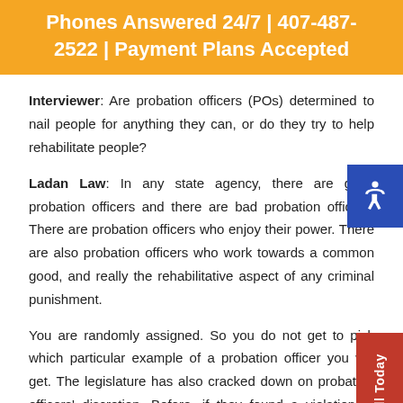Phones Answered 24/7 | 407-487-2522 | Payment Plans Accepted
Interviewer: Are probation officers (POs) determined to nail people for anything they can, or do they try to help rehabilitate people?
Ladan Law: In any state agency, there are good probation officers and there are bad probation officers. There are probation officers who enjoy their power. There are also probation officers who work towards a common good, and really the rehabilitative aspect of any criminal punishment.
You are randomly assigned. So you do not get to pick which particular example of a probation officer you will get. The legislature has also cracked down on probation officers' discretion. Before, if they found a violation of probation,